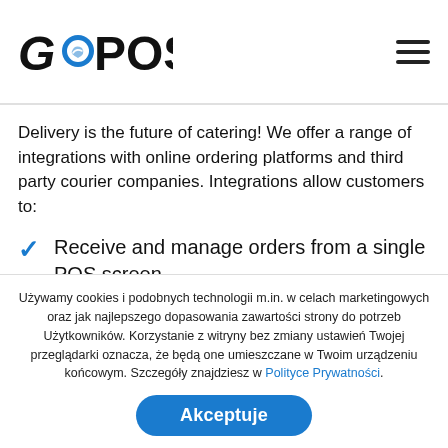GoPOS
Delivery is the future of catering! We offer a range of integrations with online ordering platforms and third party courier companies. Integrations allow customers to:
Receive and manage orders from a single POS screen
Distribute deliveries to external couriers
Używamy cookies i podobnych technologii m.in. w celach marketingowych oraz jak najlepszego dopasowania zawartości strony do potrzeb Użytkowników. Korzystanie z witryny bez zmiany ustawień Twojej przeglądarki oznacza, że będą one umieszczane w Twoim urządzeniu końcowym. Szczegóły znajdziesz w Polityce Prywatności.
Akceptuje